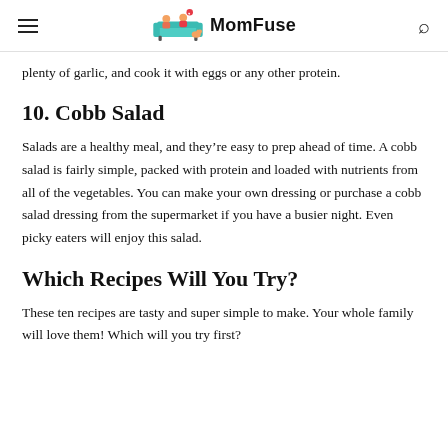MomFuse
plenty of garlic, and cook it with eggs or any other protein.
10. Cobb Salad
Salads are a healthy meal, and they're easy to prep ahead of time. A cobb salad is fairly simple, packed with protein and loaded with nutrients from all of the vegetables. You can make your own dressing or purchase a cobb salad dressing from the supermarket if you have a busier night. Even picky eaters will enjoy this salad.
Which Recipes Will You Try?
These ten recipes are tasty and super simple to make. Your whole family will love them! Which will you try first?